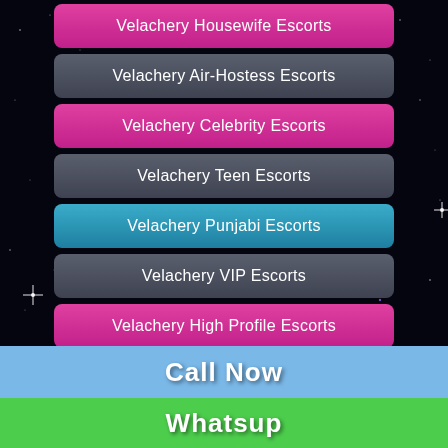Velachery Housewife Escorts
Velachery Air-Hostess Escorts
Velachery Celebrity Escorts
Velachery Teen Escorts
Velachery Punjabi Escorts
Velachery VIP Escorts
Velachery High Profile Escorts
Velachery South Indian Escorts
Velachery Kashmir Escorts
Velachery Collage Girls Escorts
Call Now
Whatsup